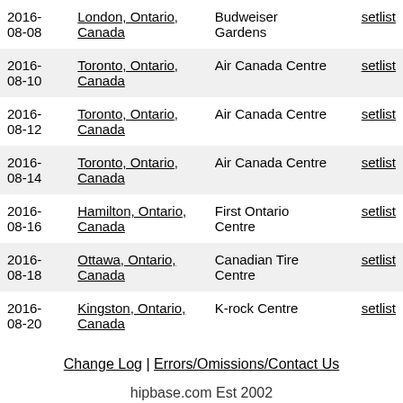| Date | City | Venue |  |
| --- | --- | --- | --- |
| 2016-08-08 | London, Ontario, Canada | Budweiser Gardens | setlist |
| 2016-08-10 | Toronto, Ontario, Canada | Air Canada Centre | setlist |
| 2016-08-12 | Toronto, Ontario, Canada | Air Canada Centre | setlist |
| 2016-08-14 | Toronto, Ontario, Canada | Air Canada Centre | setlist |
| 2016-08-16 | Hamilton, Ontario, Canada | First Ontario Centre | setlist |
| 2016-08-18 | Ottawa, Ontario, Canada | Canadian Tire Centre | setlist |
| 2016-08-20 | Kingston, Ontario, Canada | K-rock Centre | setlist |
Change Log | Errors/Omissions/Contact Us
hipbase.com Est 2002